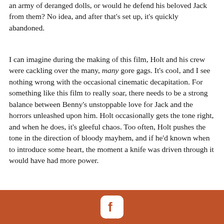an army of deranged dolls, or would he defend his beloved Jack from them? No idea, and after that's set up, it's quickly abandoned.
I can imagine during the making of this film, Holt and his crew were cackling over the many, many gore gags. It's cool, and I see nothing wrong with the occasional cinematic decapitation. For something like this film to really soar, there needs to be a strong balance between Benny's unstoppable love for Jack and the horrors unleashed upon him. Holt occasionally gets the tone right, and when he does, it's gleeful chaos. Too often, Holt pushes the tone in the direction of bloody mayhem, and if he'd known when to introduce some heart, the moment a knife was driven through it would have had more power.
[Figure (photo): Two men dressed as police officers with checkered band hats, one holding what appears to be a small orange object, standing near a vehicle at night.]
I don't
Facebook icon footer bar